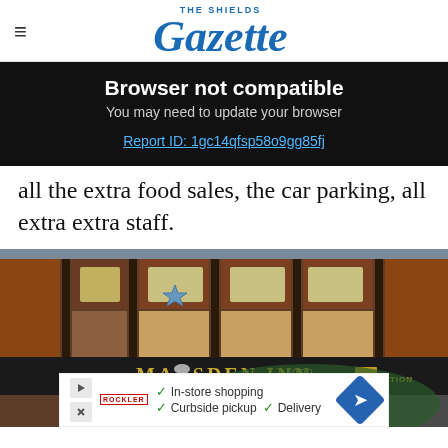THE SHIELDS Gazette
Browser not compatible
You may need to update your browser
Report ID: 1gc14qfsp58o9gg85fj
all the extra food sales, the car parking, all extra extra staff.
[Figure (photo): Photo of Marsden Inn pub facade with sign showing MARSDEN INN and ACCOMMODATION]
In-store shopping  Curbside pickup  Delivery